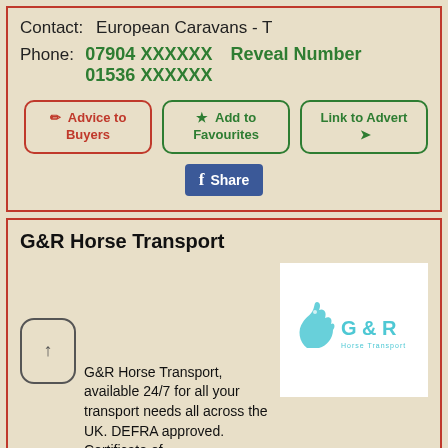Contact:  European Caravans - T
Phone:  07904 XXXXXX   Reveal Number
        01536 XXXXXX
Advice to Buyers
Add to Favourites
Link to Advert
[Figure (logo): Facebook Share button (blue, with f icon)]
G&R Horse Transport
[Figure (logo): G & R Horse Transport logo — teal horse head silhouette with G & R text]
G&R Horse Transport, available 24/7 for all your transport needs all across the UK. DEFRA approved. Certificate of